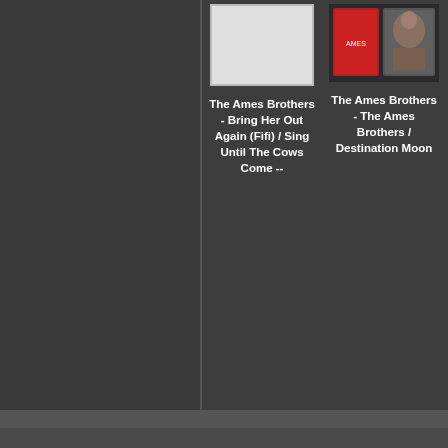[Figure (screenshot): Dark gray two-panel UI layout. Left panel is a darker sidebar. Right panel shows two album entries: first has a blank/white album cover placeholder; second has a photo album cover showing performers. Below each cover is a bold white title text.]
The Ames Brothers - Bring Her Out Again (Fifi) / Sing Until The Cows Come --
The Ames Brothers - The Ames Brothers / Destination Moon